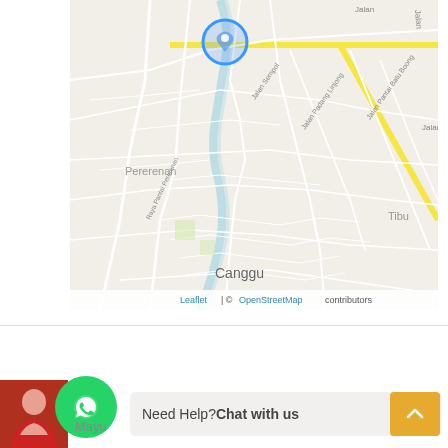[Figure (map): OpenStreetMap showing Canggu and Pererenan area in Bali, Indonesia. Shows roads including Jalan Sempol, Jalan Padang Linjong, Jalan Pantai Batu Boong, Raya Pantai Pererenan. A blue location pin/circle marker is visible near the top center. A small river runs through the area. Labels show Pererenan, Canggu, Tibu. Yellow roads indicate major roads.]
Leaflet | © OpenStreetMap contributors
Details
Updated on June 11, 2021 at 7:38 am
[Figure (infographic): WhatsApp chat widget at bottom of page with green WhatsApp icon and 'Need Help? Chat with us' text. Orange scroll-to-top button on right. Person photo on bottom left.]